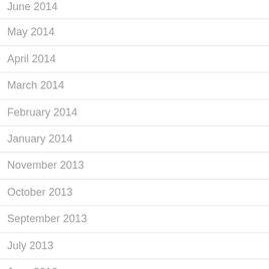June 2014
May 2014
April 2014
March 2014
February 2014
January 2014
November 2013
October 2013
September 2013
July 2013
June 2013
May 2013